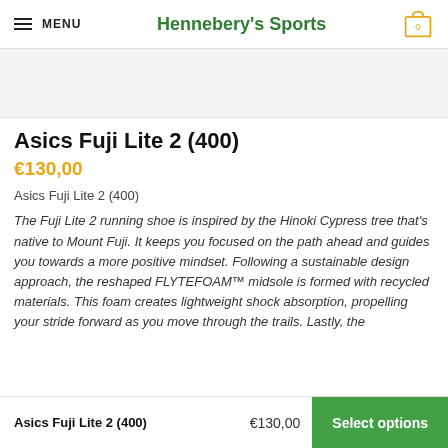MENU | Hennebery's Sports | 0
[Figure (photo): Product image area (partially visible shoe image, light grey background)]
Asics Fuji Lite 2 (400)
€130,00
Asics Fuji Lite 2 (400)
The Fuji Lite 2 running shoe is inspired by the Hinoki Cypress tree that's native to Mount Fuji. It keeps you focused on the path ahead and guides you towards a more positive mindset. Following a sustainable design approach, the reshaped FLYTEFOAM™ midsole is formed with recycled materials. This foam creates lightweight shock absorption, propelling your stride forward as you move through the trails. Lastly, the
Asics Fuji Lite 2 (400)  €130,00  Select options